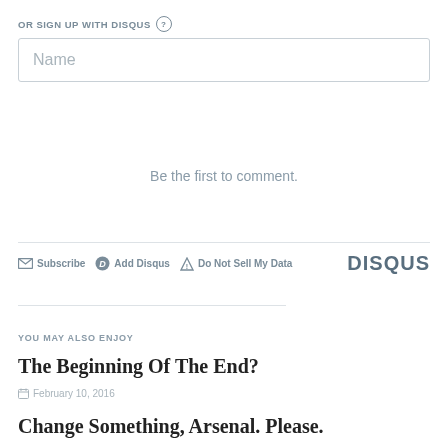OR SIGN UP WITH DISQUS ?
[Figure (screenshot): Name input field, a form text box with placeholder 'Name']
Be the first to comment.
Subscribe  Add Disqus  Do Not Sell My Data  DISQUS
YOU MAY ALSO ENJOY
The Beginning Of The End?
February 10, 2016
Change Something, Arsenal. Please.